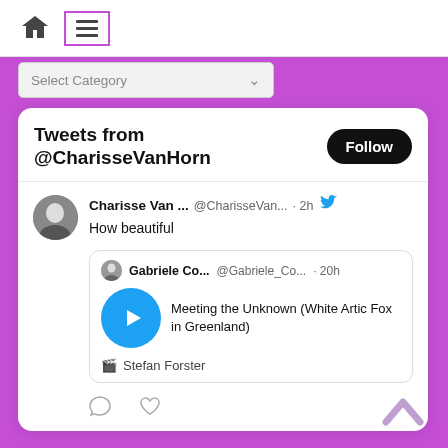[Figure (screenshot): Website navigation top bar with home icon and hamburger menu icon (highlighted with purple border)]
[Figure (screenshot): Select Category dropdown selector]
Tweets from @CharisseVanHorn
Follow
Charisse Van ... @CharisseVan... · 2h
How beautiful
Gabriele Co... @Gabriele_Co... · 20h
Meeting the Unknown (White Artic Fox in Greenland)
Stefan Forster